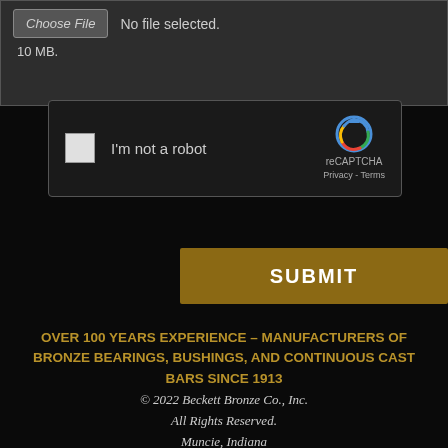[Figure (screenshot): File upload input area with 'Choose File' button showing 'No file selected.' and size limit of 10 MB.]
[Figure (screenshot): reCAPTCHA widget with checkbox labeled 'I'm not a robot', reCAPTCHA logo and branding with Privacy and Terms links.]
SUBMIT
OVER 100 YEARS EXPERIENCE – MANUFACTURERS OF BRONZE BEARINGS, BUSHINGS, AND CONTINUOUS CAST BARS SINCE 1913
© 2022 Beckett Bronze Co., Inc. All Rights Reserved. Muncie, Indiana Phone: (765) 282-2261 info@beckettbronze.com